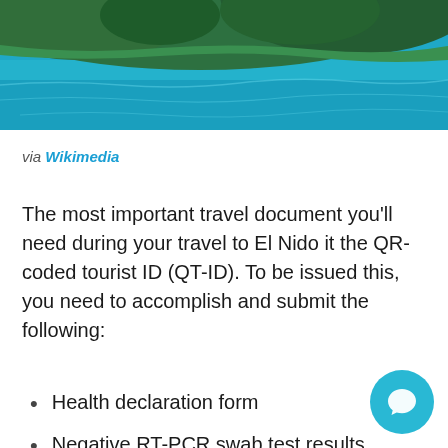[Figure (photo): Aerial photo of El Nido island with dense green forest and turquoise water]
via Wikimedia
The most important travel document you'll need during your travel to El Nido it the QR-coded tourist ID (QT-ID). To be issued this, you need to accomplish and submit the following:
Health declaration form
Negative RT-PCR swab test results accomplished within the last 72 hours before flying to El Nido (within 48 hours if you're entering via Puerto Princesa). Check the full list of DOH-accredited laboratories here. According to El Nido Tourism, RT-PCR saliva tests conducted by the Philippine Red Cross are also accepted in acquiring the QT-ID.